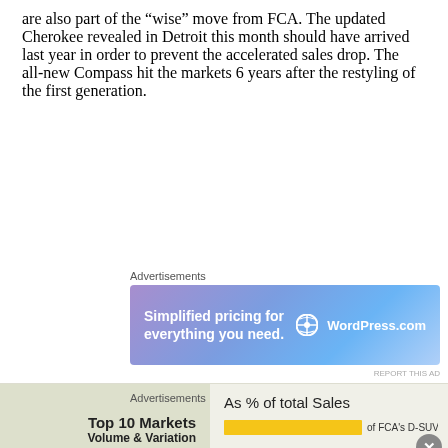are also part of the “wise” move from FCA. The updated Cherokee revealed in Detroit this month should have arrived last year in order to prevent the accelerated sales drop. The all-new Compass hit the markets 6 years after the restyling of the first generation.
Advertisements
[Figure (other): WordPress.com advertisement banner: gradient purple-blue background, text 'Simplified pricing for everything you need.' with WordPress.com logo on the right.]
[Figure (other): Partially visible chart section showing 'Top 10 Markets Volume & Variation' on the left and 'As % of total Sales' on the right with a yellow bar, overlaid with a close button. Below is an 'Advertisements' label.]